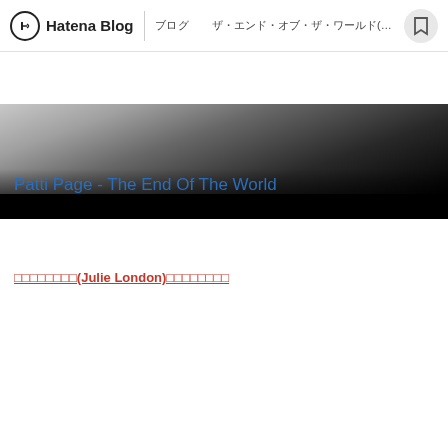Hatena Blog | ブログ | ザ・エンド・オブ・ザ・ワールド(The End of the World)の
[Figure (photo): Black and white photo strip showing a person's arm/shoulder area against dark background]
Patti Page - The End Of The World
ジュリー・ロンドン(Julie London)のザ・エンド・オブ
[Figure (screenshot): YouTube video thumbnail for 'Julie London-End of The World' showing a close-up of Julie London's face. The video has a circular avatar thumbnail in the top left, the video title, Liberty Records label branding, three-dot menu, and italic text overlay reading 'make love to me'. A play button is visible at the bottom center.]